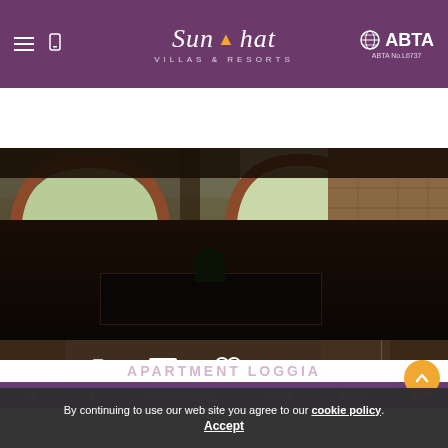[Figure (screenshot): Sun-hat Villas & Resorts website header with purple background, hamburger menu, phone icon, Sun-hat logo with orange arrow, and ABTA No.L6737 badge]
[Figure (screenshot): Search bar with Villa Name / Ref input and orange search button on purple background]
[Figure (photo): Photograph of a rustic terrace with stone arches overlooking Italian countryside, with dark dining furniture in foreground and stone wall to the right]
APARTMENT LOGGIA
By continuing to use our web site you agree to our cookie policy. Accept
Book / Enquire  Share  Show